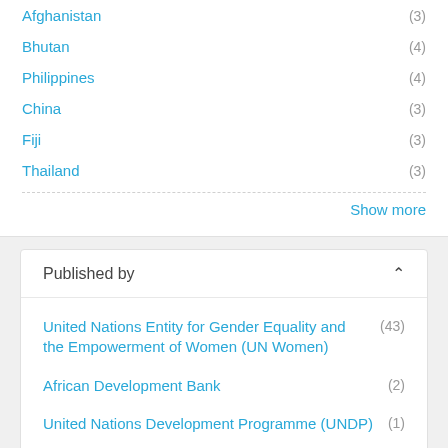Afghanistan (3)
Bhutan (4)
Philippines (4)
China (3)
Fiji (3)
Thailand (3)
Show more
Published by
United Nations Entity for Gender Equality and the Empowerment of Women (UN Women) (43)
African Development Bank (2)
United Nations Development Programme (UNDP) (1)
1 - 20 of 60 Results   1 2 3 »